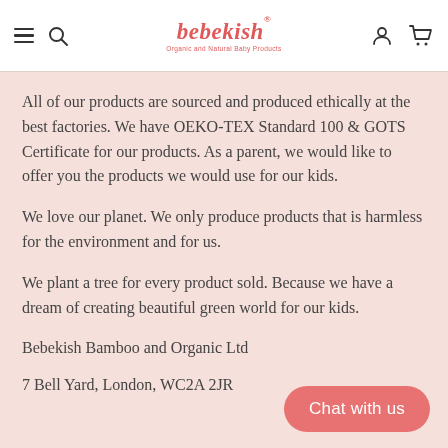bebekish — Organic and Natural Baby Products
All of our products are sourced and produced ethically at the best factories. We have OEKO-TEX Standard 100 & GOTS Certificate for our products. As a parent, we would like to offer you the products we would use for our kids.
We love our planet. We only produce products that is harmless for the environment and for us.
We plant a tree for every product sold. Because we have a dream of creating beautiful green world for our kids.
Bebekish Bamboo and Organic Ltd
7 Bell Yard, London, WC2A 2JR